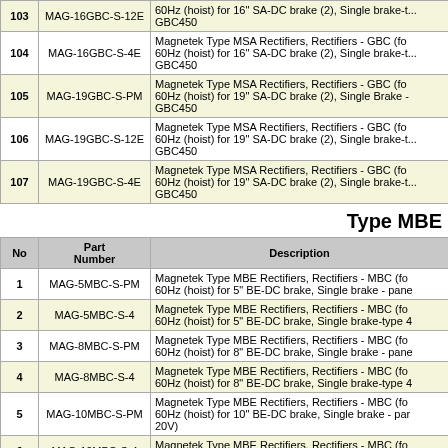| No | Part Number | Description |
| --- | --- | --- |
| 103 | MAG-16GBC-S-12E | Magnetek Type MSA Rectifiers, Rectifiers - GBC (for 60Hz (hoist) for 16" SA-DC brake (2), Single brake-t... GBC450 |
| 104 | MAG-16GBC-S-4E | Magnetek Type MSA Rectifiers, Rectifiers - GBC (for 60Hz (hoist) for 16" SA-DC brake (2), Single brake-t... GBC450 |
| 105 | MAG-19GBC-S-PM | Magnetek Type MSA Rectifiers, Rectifiers - GBC (for 60Hz (hoist) for 19" SA-DC brake (2), Single Brake - ... GBC450 |
| 106 | MAG-19GBC-S-12E | Magnetek Type MSA Rectifiers, Rectifiers - GBC (for 60Hz (hoist) for 19" SA-DC brake (2), Single brake-t... GBC450 |
| 107 | MAG-19GBC-S-4E | Magnetek Type MSA Rectifiers, Rectifiers - GBC (for 60Hz (hoist) for 19" SA-DC brake (2), Single brake-t... GBC450 |
Type MBE
| No | Part Number | Description |
| --- | --- | --- |
| 1 | MAG-5MBC-S-PM | Magnetek Type MBE Rectifiers, Rectifiers - MBC (for 60Hz (hoist) for 5" BE-DC brake, Single brake - pane... |
| 2 | MAG-5MBC-S-4 | Magnetek Type MBE Rectifiers, Rectifiers - MBC (for 60Hz (hoist) for 5" BE-DC brake, Single brake-type 4... |
| 3 | MAG-8MBC-S-PM | Magnetek Type MBE Rectifiers, Rectifiers - MBC (for 60Hz (hoist) for 8" BE-DC brake, Single brake - pane... |
| 4 | MAG-8MBC-S-4 | Magnetek Type MBE Rectifiers, Rectifiers - MBC (for 60Hz (hoist) for 8" BE-DC brake, Single brake-type 4... |
| 5 | MAG-10MBC-S-PM | Magnetek Type MBE Rectifiers, Rectifiers - MBC (for 60Hz (hoist) for 10" BE-DC brake, Single brake - pan... 20V) |
| 6 | MAG-10MBC-S-4 | Magnetek Type MBE Rectifiers, Rectifiers - MBC (for 60Hz (hoist) for 10" BE-DC brake, Single brake-type... |
| 7 | MAG-13MBC-S-PM | Magnetek Type MBE Rectifiers, Rectifiers - MBC (for 60Hz (hoist) for 13" BE-DC brake, Single brake - pan... 20V) |
| 8 |  | Magnetek Type MBE Rectifiers, Rectifiers - MBC (fo... |